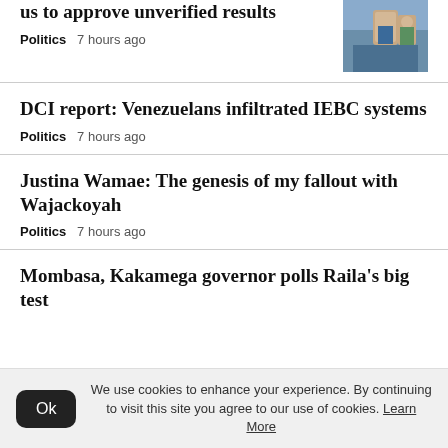us to approve unverified results — Politics 7 hours ago
DCI report: Venezuelans infiltrated IEBC systems
Politics  7 hours ago
Justina Wamae: The genesis of my fallout with Wajackoyah
Politics  7 hours ago
Mombasa, Kakamega governor polls Raila's big test
We use cookies to enhance your experience. By continuing to visit this site you agree to our use of cookies. Learn More